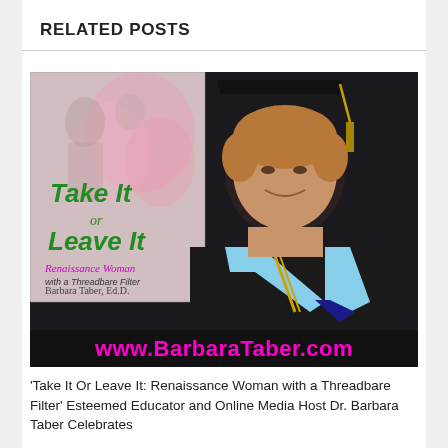RELATED POSTS
[Figure (photo): Book cover for 'Take It or Leave It: Renaissance Woman with a Threadbare Filter' by Barbara Taber, Ed.D., alongside a photo of a woman in doctoral graduation regalia (black gown, cap with gold tassel, light blue hood), smiling. Website URL www.BarbaraTaber.com displayed at the bottom of the image in large magenta text.]
'Take It Or Leave It: Renaissance Woman with a Threadbare Filter' Esteemed Educator and Online Media Host Dr. Barbara Taber Celebrates